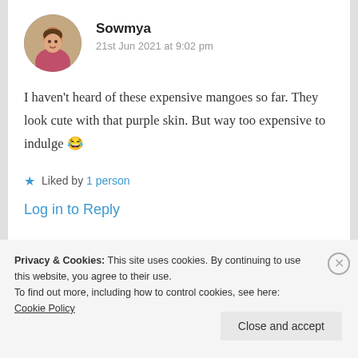[Figure (photo): Circular avatar photo of Sowmya, a woman]
Sowmya
21st Jun 2021 at 9:02 pm
I haven't heard of these expensive mangoes so far. They look cute with that purple skin. But way too expensive to indulge 😂
★ Liked by 1 person
Log in to Reply
Privacy & Cookies: This site uses cookies. By continuing to use this website, you agree to their use.
To find out more, including how to control cookies, see here: Cookie Policy
Close and accept